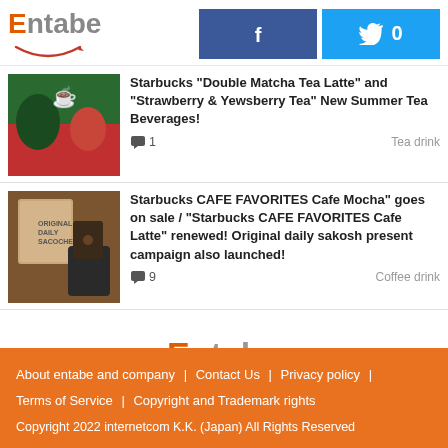Entabe | Facebook | Twitter 0
Starbucks "Double Matcha Tea Latte" and "Strawberry & Yewsberry Tea" New Summer Tea Beverages! 💬 1  Tea drink
Starbucks CAFE FAVORITES Cafe Mocha" goes on sale / "Starbucks CAFE FAVORITES Cafe Latte" renewed! Original daily sakosh present campaign also launched! 💬 9  Coffee drink
[Figure (logo): Entabe logo centered]
About entabe and company | Contact Us | Privacy policy | Terms of Service | Copyright and Trademark rights
Copyright 2022 internetcom K.K. (Japan) All Rights Reserved